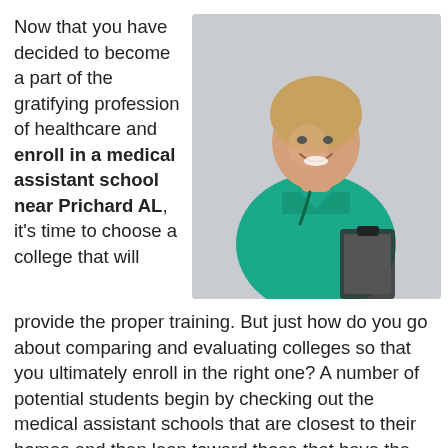Now that you have decided to become a part of the gratifying profession of healthcare and enroll in a medical assistant school near Prichard AL, it's time to choose a college that will provide the proper training. But just how do you go about comparing and evaluating colleges so that you ultimately enroll in the right one? A number of potential students begin by checking out the medical assistant schools that are closest to their homes and then lean toward those that have the cheapest tuition. While location and cost are extremely important such things as accreditation, internship programs
[Figure (photo): A smiling female healthcare professional wearing green scrubs, holding a clipboard, photographed against a light gray background.]